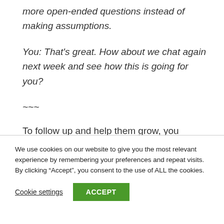more open-ended questions instead of making assumptions.
You: That's great. How about we chat again next week and see how this is going for you?
~~~
To follow up and help them grow, you
We use cookies on our website to give you the most relevant experience by remembering your preferences and repeat visits. By clicking “Accept”, you consent to the use of ALL the cookies.
Cookie settings
ACCEPT